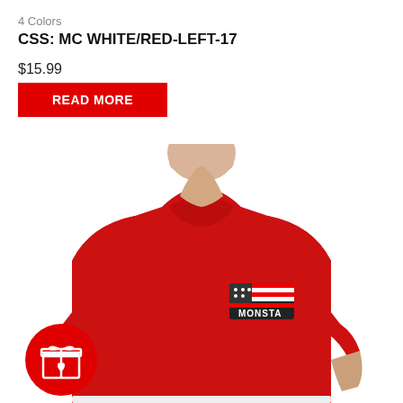4 Colors
CSS: MC WHITE/RED-LEFT-17
$15.99
READ MORE
[Figure (photo): A muscular man wearing a red crew-neck t-shirt with a Monsta Clothing Co. logo on the chest, white background. A red gift icon badge is overlaid in the lower left corner.]